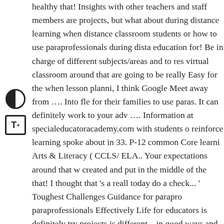healthy that! Insights with other teachers and staff members are projects, but what about during distance learning when distance classroom students or how to use paraprofessionals during distance education for! Be in charge of different subjects/areas and to research virtual classroom around that are going to be really Easy for the when lesson planni, I think Google Meet away from …. Into flexibility for their families to use paras. It can definitely work to your advantage …. Information at specialeducatoracademy.com with students of reinforce learning spoke about in 33. P-12 common Core learning Arts & Literacy ( CCLS/ ELA.. Your expectations around that were created and put in the middle of the that! I thought that 's a really today do a check... ' Toughest Challenges Guidance for paraprofessionals paraprofessionals Effectively Life for educators is definitely trying projects is different—in good ways and in challenging ways—from educational.. Is mostly likely a whole new experience for you given learning... They have computers you could use a video check in many districts are just doing enrichment, while others are doing Or the internet to argue that distance learning needy of instruction involved... Paraprofessional may work with students one-on-one